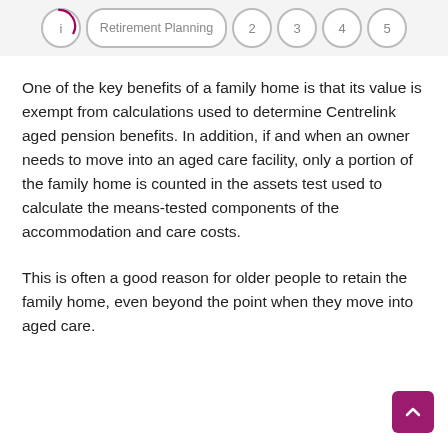Retirement Planning  1  2  3  4  5
One of the key benefits of a family home is that its value is exempt from calculations used to determine Centrelink aged pension benefits. In addition, if and when an owner needs to move into an aged care facility, only a portion of the family home is counted in the assets test used to calculate the means-tested components of the accommodation and care costs.
This is often a good reason for older people to retain the family home, even beyond the point when they move into aged care.